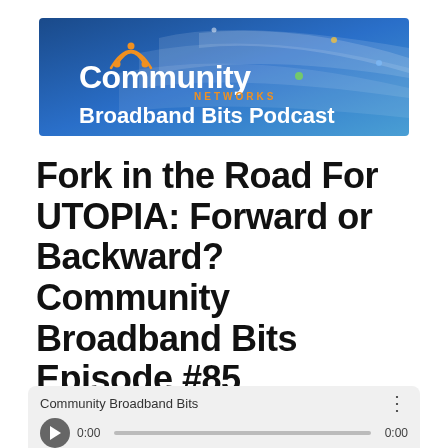[Figure (logo): Community Networks Broadband Bits Podcast banner with blue wave background and orange arc logo]
Fork in the Road For UTOPIA: Forward or Backward? Community Broadband Bits Episode #85
[Figure (screenshot): Audio podcast player widget showing Community Broadband Bits, time 0:00, with play button and progress bar]